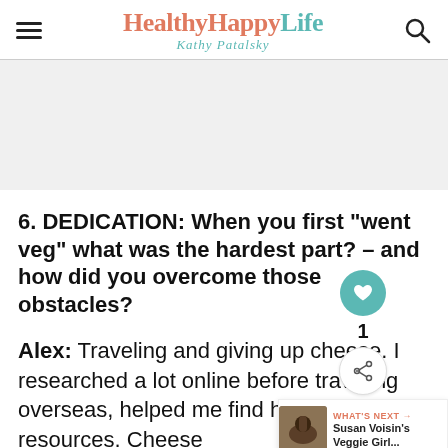HealthyHappyLife — Kathy Patalsky
[Figure (other): Gray advertisement placeholder rectangle]
6. DEDICATION: When you first “went veg” what was the hardest part? – and how did you overcome those obstacles?
Alex: Traveling and giving up cheese. I researched a lot online before traveling overseas, helped me find healthy veg resources. Cheese